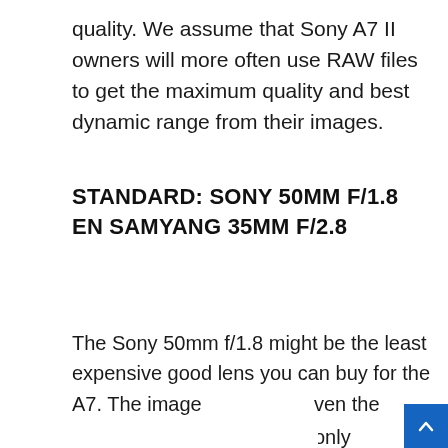quality. We assume that Sony A7 II owners will more often use RAW files to get the maximum quality and best dynamic range from their images.
STANDARD: SONY 50MM F/1.8 EN SAMYANG 35MM F/2.8
The Sony 50mm f/1.8 might be the least expensive good lens you can buy for the A7. The image
ven the only ready so wn a orner to ou can ever, feel
By continuing to use this website, you consent to the use of cookies in accordance with our Cookie Policy.
ACCEPT